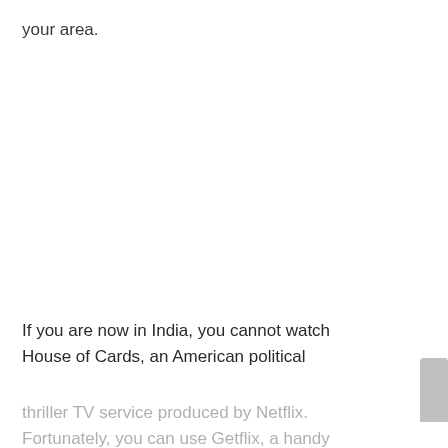your area.
If you are now in India, you cannot watch House of Cards, an American political thriller TV service produced by Netflix. Fortunately, you can use Getflix, a handy app